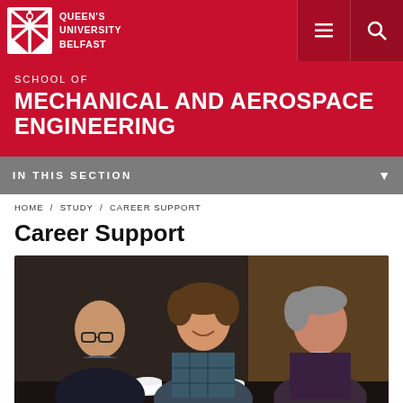Queen's University Belfast
SCHOOL OF
MECHANICAL AND AEROSPACE ENGINEERING
IN THIS SECTION
HOME / STUDY / CAREER SUPPORT
Career Support
[Figure (photo): Three men sitting around a table having a conversation, with coffee cups on the table. Indoor setting with warm lighting.]